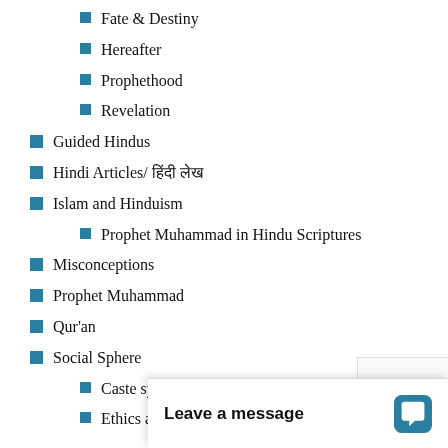Fate & Destiny
Hereafter
Prophethood
Revelation
Guided Hindus
Hindi Articles/ हिंदी लेख
Islam and Hinduism
Prophet Muhammad in Hindu Scriptures
Misconceptions
Prophet Muhammad
Qur'an
Social Sphere
Caste system
Ethics and V…
Leave a message